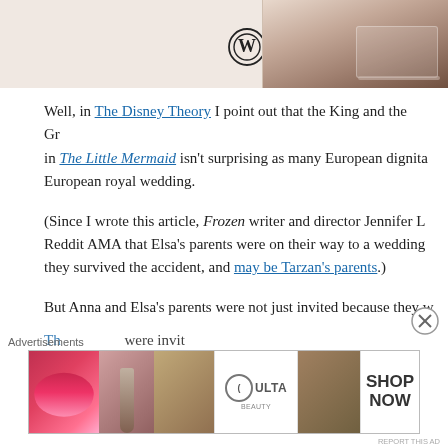[Figure (screenshot): WordPress logo and partial blog header with beige/pink background and person using laptop on right side]
Well, in The Disney Theory I point out that the King and the Gr... in The Little Mermaid isn't surprising as many European dignita... European royal wedding.
(Since I wrote this article, Frozen writer and director Jennifer L... Reddit AMA that Elsa's parents were on their way to a wedding... they survived the accident, and may be Tarzan's parents.)
But Anna and Elsa's parents were not just invited because they w...
The... were invited because of the...
Advertisements
[Figure (screenshot): Ulta Beauty advertisement banner with makeup imagery and SHOP NOW call to action]